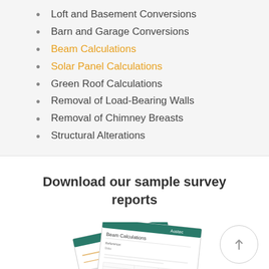Loft and Basement Conversions
Barn and Garage Conversions
Beam Calculations
Solar Panel Calculations
Green Roof Calculations
Removal of Load-Bearing Walls
Removal of Chimney Breasts
Structural Alterations
Download our sample survey reports
[Figure (photo): Sample survey report document pages shown as a fanned stack of papers with 'Beam Calculations' visible on one page]